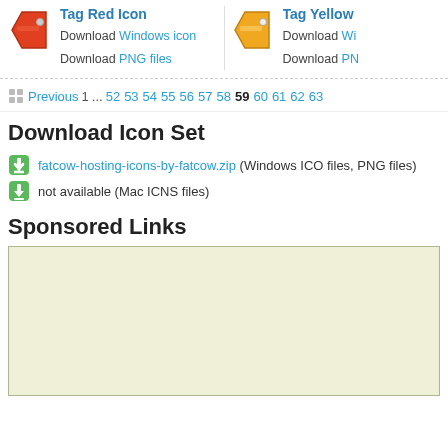[Figure (illustration): Tag Red Icon - red price tag icon image]
Tag Red Icon
Download Windows icon
Download PNG files
[Figure (illustration): Tag Yellow Icon - yellow price tag icon image]
Tag Yellow
Download Wi
Download PN
Previous 1 ... 52 53 54 55 56 57 58 59 60 61 62 63
Download Icon Set
fatcow-hosting-icons-by-fatcow.zip (Windows ICO files, PNG files)
not available (Mac ICNS files)
Sponsored Links
[Figure (other): Advertisement / sponsored content box with beige background]